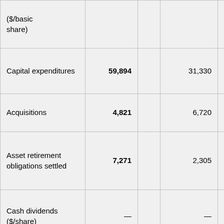|  | Col1 |  | Col2 | Col3 | Col4 |
| --- | --- | --- | --- | --- | --- |
| ($/basic share) |  |  |  |  |  |
| Capital expenditures | 59,894 |  | 31,330 | 100,625 | 36 |
| Acquisitions | 4,821 |  | 6,720 | 9,165 | 25 |
| Asset retirement obligations settled | 7,271 |  | 2,305 | 7,352 | 14 |
| Cash dividends ($/share) | — |  | — | 0.690 | 0.5 |
| Dividends declared | — |  | — | 107,702 | 90 |
| % of fund flows from operations | — % |  | —% | 50% | 18 |